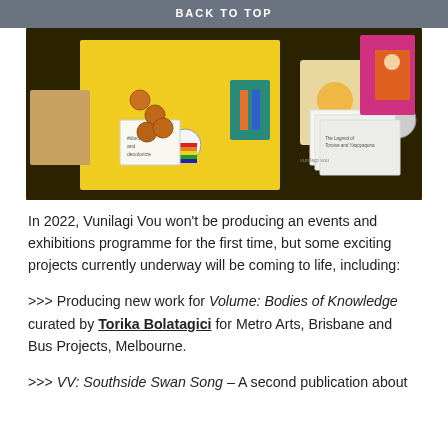BACK TO TOP
[Figure (photo): Flat-lay photograph of Vunilagi Vou merchandise and publications including badges, earrings, zines, tote bags, stickers, and printed materials spread on a surface.]
In 2022, Vunilagi Vou won’t be producing an events and exhibitions programme for the first time, but some exciting projects currently underway will be coming to life, including:
>>> Producing new work for Volume: Bodies of Knowledge curated by Torika Bolatagici for Metro Arts, Brisbane and Bus Projects, Melbourne.
>>> VV: Southside Swan Song – A second publication about